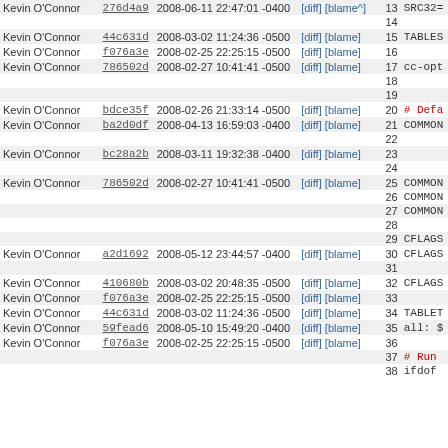| Author | Commit | Date | Links | Line | Code |
| --- | --- | --- | --- | --- | --- |
| Kevin O'Connor | 276d4a9 | 2008-06-11 22:47:01 -0400 | [diff] [blame^] | 13 | SRC32= |
|  |  |  |  | 14 |  |
| Kevin O'Connor | 44c631d | 2008-03-02 11:24:36 -0500 | [diff] [blame] | 15 | TABLES |
| Kevin O'Connor | f076a3e | 2008-02-25 22:25:15 -0500 | [diff] [blame] | 16 |  |
| Kevin O'Connor | 786502d | 2008-02-27 10:41:41 -0500 | [diff] [blame] | 17 | cc-opt |
|  |  |  |  | 18 |  |
|  |  |  |  | 19 |  |
| Kevin O'Connor | bdce35f | 2008-02-26 21:33:14 -0500 | [diff] [blame] | 20 | # Defa |
| Kevin O'Connor | ba2d0df | 2008-04-13 16:59:03 -0400 | [diff] [blame] | 21 | COMMON |
|  |  |  |  | 22 |  |
| Kevin O'Connor | bc28a2b | 2008-03-11 19:32:38 -0400 | [diff] [blame] | 23 |  |
|  |  |  |  | 24 |  |
| Kevin O'Connor | 786502d | 2008-02-27 10:41:41 -0500 | [diff] [blame] | 25 | COMMON |
|  |  |  |  | 26 | COMMON |
|  |  |  |  | 27 | COMMON |
|  |  |  |  | 28 |  |
|  |  |  |  | 29 | CFLAGS |
| Kevin O'Connor | a2d1692 | 2008-05-12 23:44:57 -0400 | [diff] [blame] | 30 | CFLAGS |
|  |  |  |  | 31 |  |
| Kevin O'Connor | 410680b | 2008-03-02 20:48:35 -0500 | [diff] [blame] | 32 | CFLAGS |
| Kevin O'Connor | f076a3e | 2008-02-25 22:25:15 -0500 | [diff] [blame] | 33 |  |
| Kevin O'Connor | 44c631d | 2008-03-02 11:24:36 -0500 | [diff] [blame] | 34 | TABLET |
| Kevin O'Connor | 59fead6 | 2008-05-10 15:49:20 -0400 | [diff] [blame] | 35 | all: $ |
| Kevin O'Connor | f076a3e | 2008-02-25 22:25:15 -0500 | [diff] [blame] | 36 |  |
|  |  |  |  | 37 | # Run |
|  |  |  |  | 38 | ifdof |